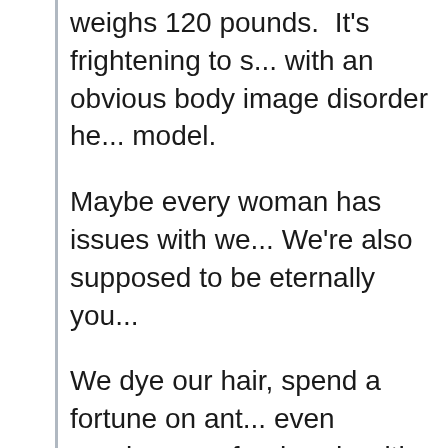weighs 120 pounds.  It's frightening to s... with an obvious body image disorder he... model.
Maybe every woman has issues with we... We're also supposed to be eternally you...
We dye our hair, spend a fortune on ant... even paralyze our foreheads with Botox... the crime in looking your age, and havin... two?...
[Figure (screenshot): Bloomingdale's advertisement banner with logo, 'View Today's Top Deals!' tagline, a woman in a wide-brimmed hat, and 'SHOP NOW >' button.]